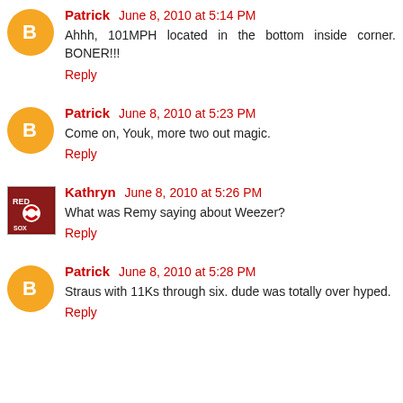Patrick June 8, 2010 at 5:14 PM
Ahhh, 101MPH located in the bottom inside corner. BONER!!!
Reply
Patrick June 8, 2010 at 5:23 PM
Come on, Youk, more two out magic.
Reply
Kathryn June 8, 2010 at 5:26 PM
What was Remy saying about Weezer?
Reply
Patrick June 8, 2010 at 5:28 PM
Straus with 11Ks through six. dude was totally over hyped.
Reply